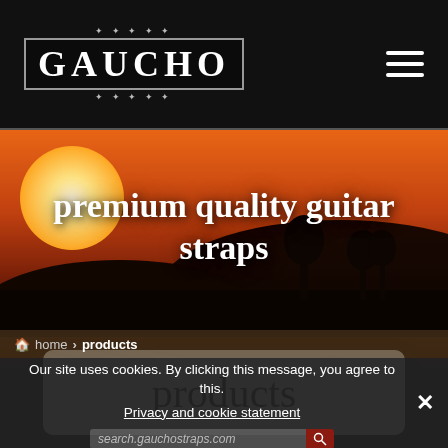GAUCHO
[Figure (photo): Sunset landscape hero banner with orange sky, large white sun, and dark silhouetted hills. Text overlay reads 'premium quality guitar straps']
premium quality guitar straps
products
home > products
Our site uses cookies. By clicking this message, you agree to this.
Privacy and cookie statement
search.gauchostraps.com